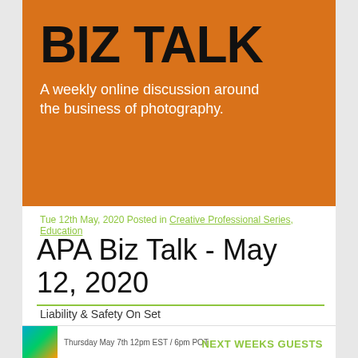[Figure (logo): Orange banner with BIZ TALK title in black bold and white subtitle text 'A weekly online discussion around the business of photography.']
Tue 12th May, 2020 Posted in Creative Professional Series, Education
APA Biz Talk - May 12, 2020
Liability & Safety On Set
[Figure (logo): Small colorful APA logo thumbnail with 'NEXT WEEKS GUESTS' label and 'Thursday May 7th 12pm EST / 6pm POT' text]